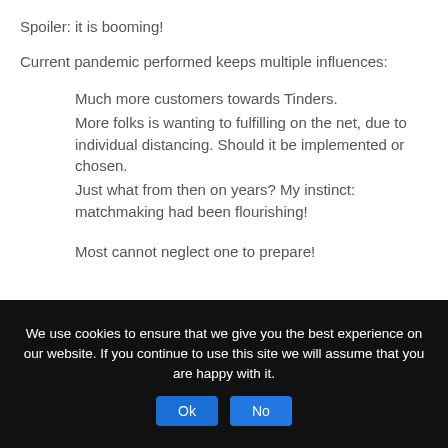Spoiler: it is booming!
Current pandemic performed keeps multiple influences:
Much more customers towards Tinders.
More folks is wanting to fulfilling on the net, due to individual distancing. Should it be implemented or chosen.
Just what from then on years? My instinct: matchmaking had been flourishing!
Most cannot neglect one to prepare!
We use cookies to ensure that we give you the best experience on our website. If you continue to use this site we will assume that you are happy with it.  Ok  No